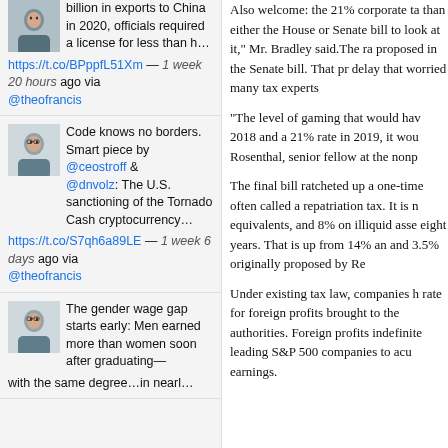billion in exports to China in 2020, officials required a license for less than h… https://t.co/BPppfL51Xm — 1 week 20 hours ago via @theofrancis
Code knows no borders. Smart piece by @ceostroff & @dnvolz: The U.S. sanctioning of the Tornado Cash cryptocurrency… https://t.co/S7qh6a89LE — 1 week 6 days ago via @theofrancis
The gender wage gap starts early: Men earned more than women soon after graduating— with the same degree…in nearl…
Also welcome: the 21% corporate ta than either the House or Senate bill to look at it," Mr. Bradley said.The ra proposed in the Senate bill. That pr delay that worried many tax experts
"The level of gaming that would hav 2018 and a 21% rate in 2019, it wou Rosenthal, senior fellow at the nonp
The final bill ratcheted up a one-time often called a repatriation tax. It is n equivalents, and 8% on illiquid asse eight years. That is up from 14% an and 3.5% originally proposed by Re
Under existing tax law, companies h rate for foreign profits brought to the authorities. Foreign profits indefinite leading S&P 500 companies to acu earnings.